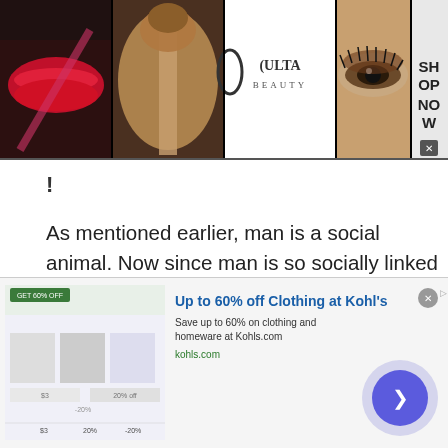[Figure (photo): Ulta Beauty advertisement banner with makeup photos (lips, brush, eyes) and Ulta Beauty logo, with SHOP NOW call to action]
!
As mentioned earlier, man is a social animal. Now since man is so socially linked and glued to this digital world, why would an individual need to interact with a stranger? The reason is quite simple. And that reason is, we all have dark secrets. There is no shame in admitting our deepest and darkest desires while you chat with people of Russian Federation. However, we cannot express these
[Figure (photo): Kohl's advertisement: Up to 60% off Clothing at Kohl's. Save up to 60% on clothing and homeware at Kohls.com. kohls.com]